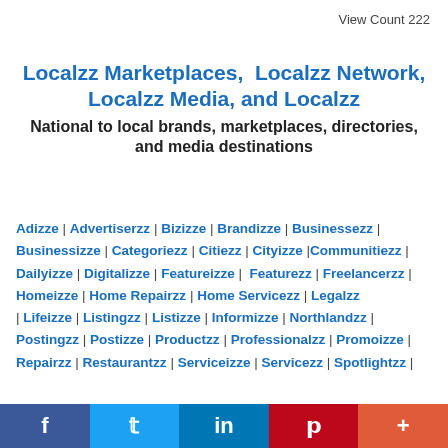View Count 222
Localzz Marketplaces,  Localzz Network, Localzz Media, and Localzz
National to local brands, marketplaces, directories, and media destinations
Adizze | Advertiserzz | Bizizze | Brandizze | Businessezz | Businessizze | Categoriezz | Citiezz | Cityizze |Communitiezz | Dailyizze | Digitalizze | Featureizze | Featurezz | Freelancerzz | Homeizze | Home Repairzz | Home Servicezz | Legalzz | Lifeizze | Listingzz | Listizze | Informizze | Northlandzz | Postingzz | Postizze | Productzz | Professionalzz | Promoizze | Repairzz | Restaurantzz | Serviceizze | Servicezz | Spotlightzz |
f  t  in  p  +